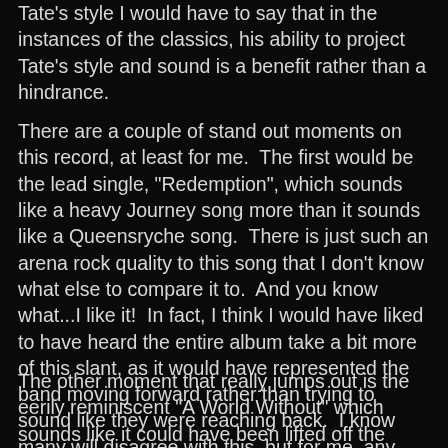Tate's style I would have to say that in the instances of the classics, his ability to project Tate's style and sound is a benefit rather than a hindrance.
There are a couple of stand out moments on this record, at least for me. The first would be the lead single, "Redemption", which sounds like a heavy Journey song more than it sounds like a Queensryche song. There is just such an arena rock quality to this song that I don't know what else to compare it to. And you know what...I like it! In fact, I think I would have liked to have heard the entire album take a bit more of this slant, as it would have represented the band moving forward rather than trying to sound like they were reaching back. I know many will disagree with this, but for me, any attempt to make some sort of change would be welcome.
The other moment that really jumps out is the eerily reminiscent "A World Without" which sounds like it could have been lifted off the Operation: Mindcrime cutting room floor and given new life. This is a GREAT song, and probably the best thing they have released since the